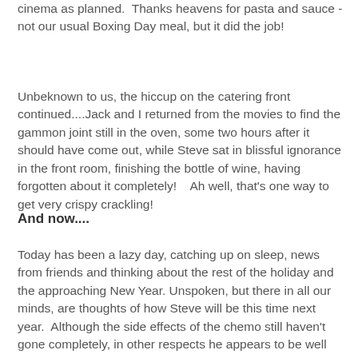cinema as planned.  Thanks heavens for pasta and sauce - not our usual Boxing Day meal, but it did the job!
Unbeknown to us, the hiccup on the catering front continued....Jack and I returned from the movies to find the gammon joint still in the oven, some two hours after it should have come out, while Steve sat in blissful ignorance in the front room, finishing the bottle of wine, having forgotten about it completely!    Ah well, that's one way to get very crispy crackling!
And now....
Today has been a lazy day, catching up on sleep, news from friends and thinking about the rest of the holiday and the approaching New Year. Unspoken, but there in all our minds, are thoughts of how Steve will be this time next year.  Although the side effects of the chemo still haven't gone completely, in other respects he appears to be well and